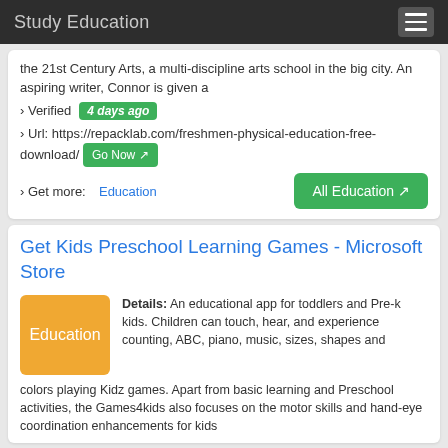Study Education
the 21st Century Arts, a multi-discipline arts school in the big city. An aspiring writer, Connor is given a
› Verified   4 days ago
› Url: https://repacklab.com/freshmen-physical-education-free-download/   Go Now
› Get more:  Education
Get Kids Preschool Learning Games - Microsoft Store
Details: An educational app for toddlers and Pre-k kids. Children can touch, hear, and experience counting, ABC, piano, music, sizes, shapes and colors playing Kidz games. Apart from basic learning and Preschool activities, the Games4kids also focuses on the motor skills and hand-eye coordination enhancements for kids